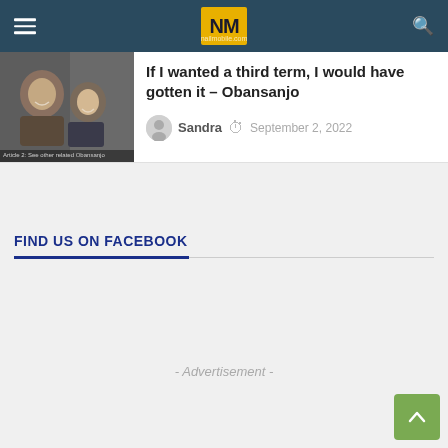NM (Nailmobile.com) navigation bar with hamburger menu and search icon
If I wanted a third term, I would have gotten it – Obansanjo
Sandra  September 2, 2022
FIND US ON FACEBOOK
- Advertisement -